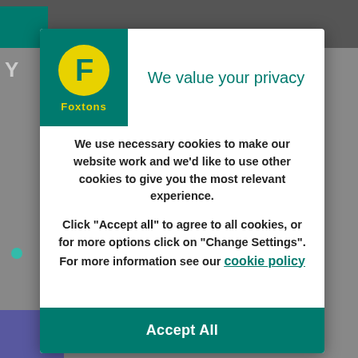[Figure (screenshot): Background of a website page partially obscured by a modal dialog, showing a grey overlay with Foxtons website elements visible at edges.]
We value your privacy
We use necessary cookies to make our website work and we'd like to use other cookies to give you the most relevant experience.
Click “Accept all” to agree to all cookies, or for more options click on “Change Settings”. For more information see our cookie policy